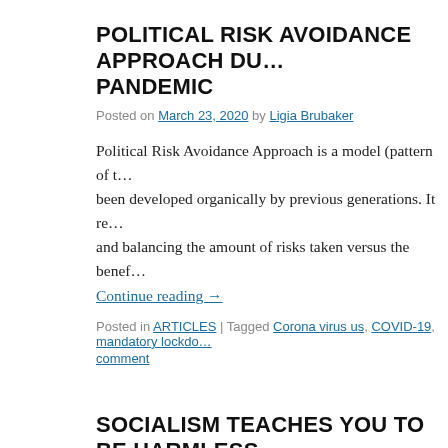POLITICAL RISK AVOIDANCE APPROACH DURING PANDEMIC
Posted on March 23, 2020 by Ligia Brubaker
Political Risk Avoidance Approach is a model (pattern of t… been developed organically by previous generations. It re… and balancing the amount of risks taken versus the benef…
Continue reading →
Posted in ARTICLES | Tagged Corona virus us, COVID-19, mandatory lockdo… comment
SOCIALISM TEACHES YOU TO BE HARMLESS SO THEY CAN ROB A HARMLESS PERSON
Posted on February 29, 2020 by Ligia Brubaker
Since I left East Europe, the biggest lie that I came across traveled through, is: "You need to be nice to people." App…